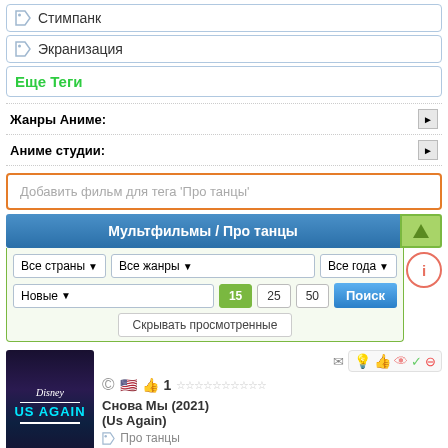Стимпанк
Экранизация
Еще Теги
Жанры Аниме:
Аниме студии:
Добавить фильм для тега 'Про танцы'
Мультфильмы / Про танцы
Все страны ▾  Все жанры ▾  Все года ▾  Новые ▾  15  25  50  Поиск  Скрывать просмотренные
Снова Мы (2021) (Us Again)
Про танцы
Драма, Зарубежные мультфильмы, Мюзикл,